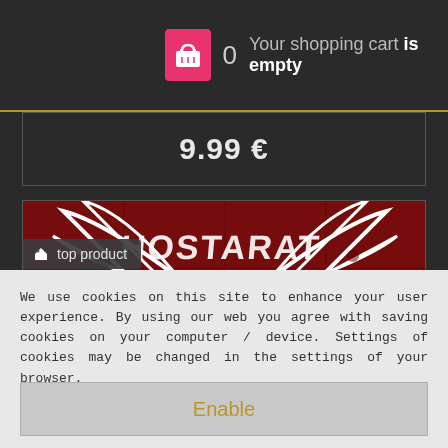0  Your shopping cart is empty
9.99 €
[Figure (screenshot): Metal album cover with a skull and rib bones on a red background, with stylized band name text. A 'top product' badge overlay is shown in the top-left corner of the image.]
We use cookies on this site to enhance your user experience. By using our web you agree with saving cookies on your computer / device. Settings of cookies may be changed in the settings of your browser.
Enable